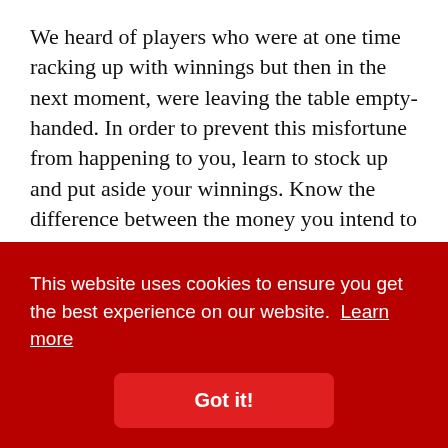We heard of players who were at one time racking up with winnings but then in the next moment, were leaving the table empty-handed. In order to prevent this misfortune from happening to you, learn to stock up and put aside your winnings. Know the difference between the money you intend to lose by playing and the cash you hope to gain. Should luck be hard to come by and you don't come away with your profit goals, most likely would...
This website uses cookies to ensure you get the best experience on our website. Learn more
Got it!